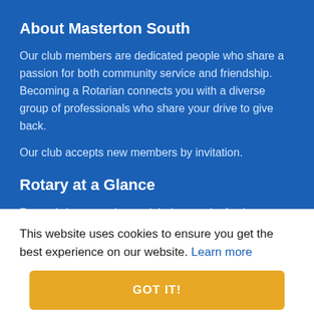About Masterton South
Our club members are dedicated people who share a passion for both community service and friendship. Becoming a Rotarian connects you with a diverse group of professionals who share your drive to give back.
Our club accepts new members by invitation.
Rotary at a Glance
Rotary brings together a global network of volunteer leaders who dedicate their time and talent to tackle the world's most pressing humanitarian challenges. Rotary connects 1.2 million members
This website uses cookies to ensure you get the best experience on our website. Learn more
GOT IT!